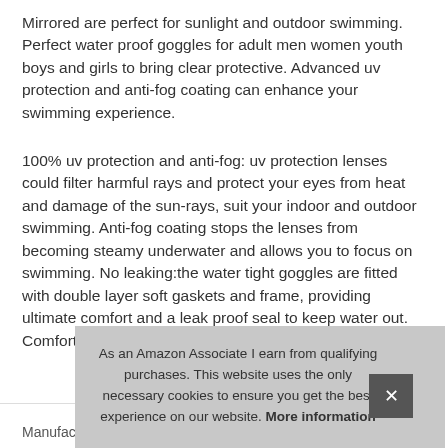Mirrored are perfect for sunlight and outdoor swimming. Perfect water proof goggles for adult men women youth boys and girls to bring clear protective. Advanced uv protection and anti-fog coating can enhance your swimming experience.
100% uv protection and anti-fog: uv protection lenses could filter harmful rays and protect your eyes from heat and damage of the sun-rays, suit your indoor and outdoor swimming. Anti-fog coating stops the lenses from becoming steamy underwater and allows you to focus on swimming. No leaking:the water tight goggles are fitted with double layer soft gaskets and frame, providing ultimate comfort and a leak proof seal to keep water out. Comfortable fit:adjustable clip on stra
| Manufacturer |
| --- |
| SBORTI |
As an Amazon Associate I earn from qualifying purchases. This website uses the only necessary cookies to ensure you get the best experience on our website. More information